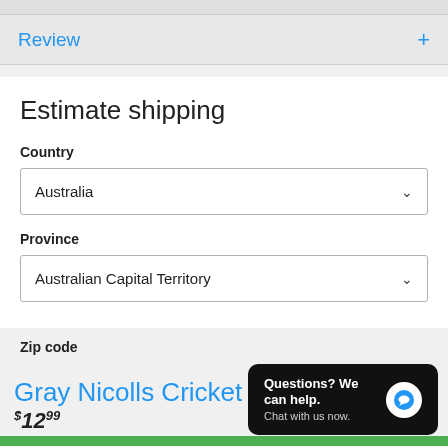Review
Estimate shipping
Country
Australia
Province
Australian Capital Territory
Zip code
Gray Nicolls Cricket
$12.99
Questions? We can help. Chat with us now.